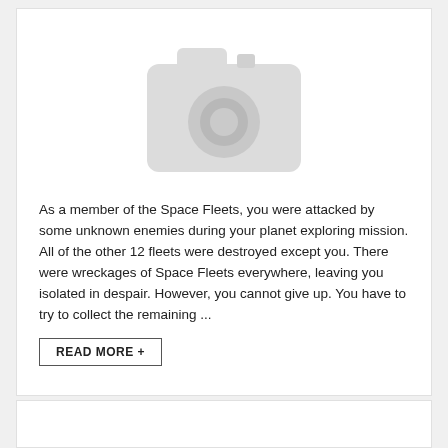[Figure (illustration): A grey placeholder camera icon on white background]
As a member of the Space Fleets, you were attacked by some unknown enemies during your planet exploring mission. All of the other 12 fleets were destroyed except you. There were wreckages of Space Fleets everywhere, leaving you isolated in despair. However, you cannot give up. You have to try to collect the remaining ...
READ MORE +